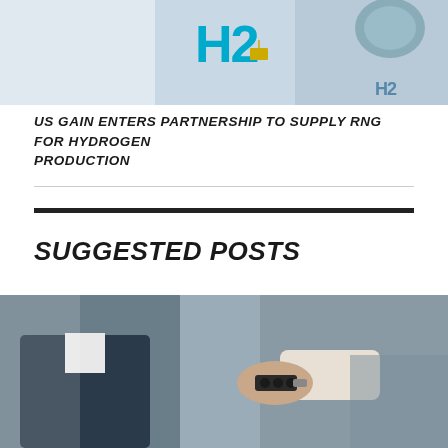[Figure (photo): Hydrogen (H2) station or tank with blue and white coloring, showing H2 text markings]
US GAIN ENTERS PARTNERSHIP TO SUPPLY RNG FOR HYDROGEN PRODUCTION
[Figure (photo): Person handing car keys to another person, suggesting a car sale or handover]